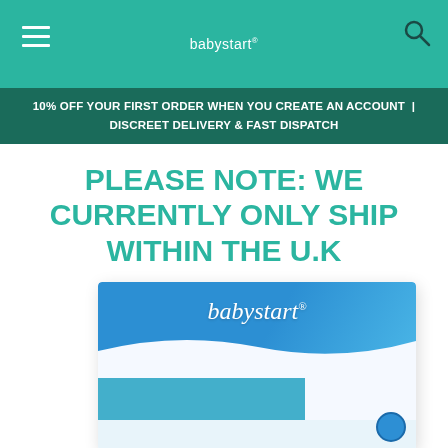babystart®
10% OFF YOUR FIRST ORDER WHEN YOU CREATE AN ACCOUNT  |  DISCREET DELIVERY & FAST DISPATCH
PLEASE NOTE: WE CURRENTLY ONLY SHIP WITHIN THE U.K
[Figure (photo): Product box with babystart® branding, blue and white packaging design]